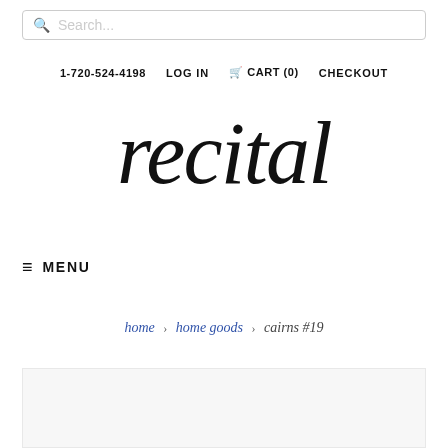Search...
1-720-524-4198   LOG IN   CART (0)   CHECKOUT
recital
≡ MENU
home > home goods > cairns #19
[Figure (other): Product image area (empty/loading)]